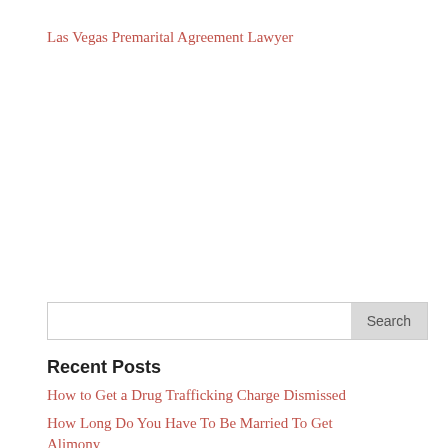Las Vegas Premarital Agreement Lawyer
Recent Posts
How to Get a Drug Trafficking Charge Dismissed
How Long Do You Have To Be Married To Get Alimony
Vehicular Manslaughter